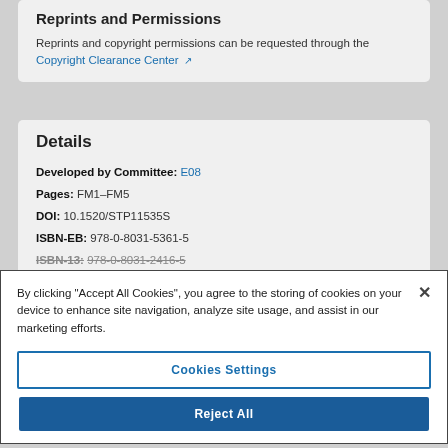Reprints and Permissions
Reprints and copyright permissions can be requested through the Copyright Clearance Center ↗
Details
Developed by Committee: E08
Pages: FM1–FM5
DOI: 10.1520/STP11535S
ISBN-EB: 978-0-8031-5361-5
ISBN-13: 978-0-8031-2416-5
By clicking "Accept All Cookies", you agree to the storing of cookies on your device to enhance site navigation, analyze site usage, and assist in our marketing efforts.
Cookies Settings
Reject All